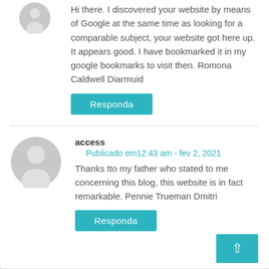Hi there. I discovered your website by means of Google at the same time as looking for a comparable subject, your website got here up. It appears good. I have bookmarked it in my google bookmarks to visit then. Romona Caldwell Diarmuid
Responda
access
Publicado em12:43 am - fev 2, 2021
Thanks tto my father who stated to me concerning this blog, this website is in fact remarkable. Pennie Trueman Dmitri
Responda